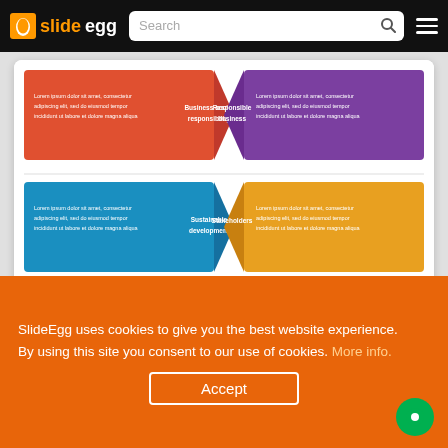slideegg — Search bar and hamburger menu
[Figure (infographic): Corporate Social Responsibility Analysis PPT slide thumbnail showing four colored hexagon-shaped sections: red/orange (Business social responsibility), purple (Responsible business), blue (Sustainable development), and yellow/orange (Stakeholders), each with Lorem ipsum placeholder text.]
Corporate Social Responsibility Analysis PPT
Corporate social responsibility powerpoint
SlideEgg uses cookies to give you the best website experience. By using this site you consent to our use of cookies. More info.
Accept